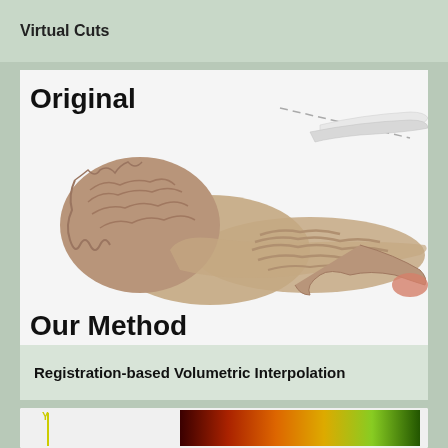Virtual Cuts
[Figure (illustration): 3D rendering of a bone/tissue specimen being cut with a surgical tool. The image shows 'Original' label at top-left and 'Our Method' label at bottom-left overlaid on a white-background 3D visualization of a textured anatomical structure (bone with rough surface at left, smooth elongated section at right) with a white surgical cutting instrument approaching from the right side with dashed trajectory line.]
Registration-based Volumetric Interpolation
[Figure (other): Partial view of another figure at the bottom of the page showing colorful visualization with yellow axis marker on left and a thermal/colormap rendering on the right.]